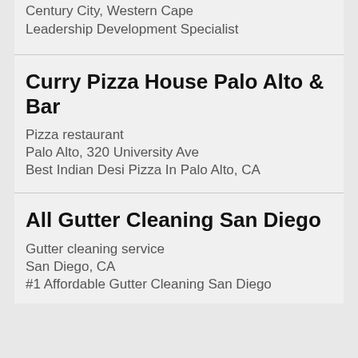Century City, Western Cape
Leadership Development Specialist
Curry Pizza House Palo Alto & Bar
Pizza restaurant
Palo Alto, 320 University Ave
Best Indian Desi Pizza In Palo Alto, CA
All Gutter Cleaning San Diego
Gutter cleaning service
San Diego, CA
#1 Affordable Gutter Cleaning San Diego